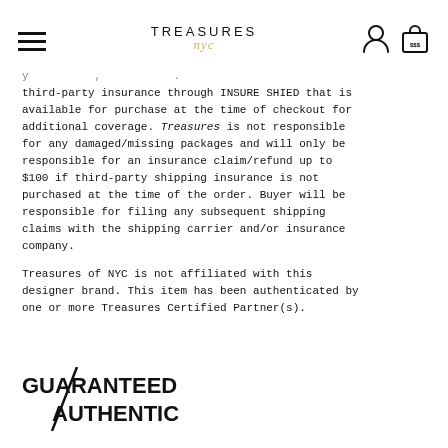TREASURES nyc [hamburger menu, person icon, bag icon]
third-party insurance through INSURE SHIED that is available for purchase at the time of checkout for additional coverage. Treasures is not responsible for any damaged/missing packages and will only be responsible for an insurance claim/refund up to $100 if third-party shipping insurance is not purchased at the time of the order. Buyer will be responsible for filing any subsequent shipping claims with the shipping carrier and/or insurance company.

Treasures of NYC is not affiliated with this designer brand. This item has been authenticated by one or more Treasures Certified Partner(s).
[Figure (logo): GUARANTEED AUTHENTIC logo with diagonal slash line through text]